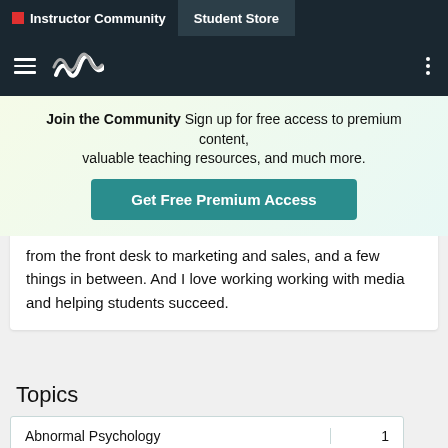Instructor Community | Student Store
Join the Community  Sign up for free access to premium content, valuable teaching resources, and much more.
Get Free Premium Access
from the front desk to marketing and sales, and a few things in between. And I love working working with media and helping students succeed.
Topics
| Topic | Count |
| --- | --- |
| Abnormal Psychology | 1 |
| Achieve | 64 |